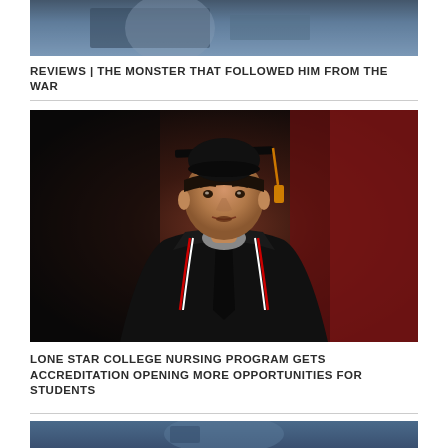[Figure (photo): Partial photo of a man in a suit at a desk, cropped at top of page]
REVIEWS | THE MONSTER THAT FOLLOWED HIM FROM THE WAR
[Figure (photo): A man wearing a black graduation cap and gown with red and white cords, photographed against a dark red background]
LONE STAR COLLEGE NURSING PROGRAM GETS ACCREDITATION OPENING MORE OPPORTUNITIES FOR STUDENTS
[Figure (photo): Partial photo at bottom of page, a man in blue]